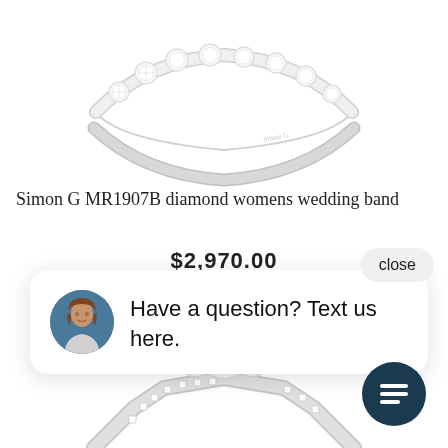[Figure (photo): Close-up photo of a Simon G diamond women's wedding band ring with multiple round diamonds set along the top, white gold band, against white background.]
Simon G MR1907B diamond womens wedding band
$2,970.00
close
[Figure (photo): Chat popup with a photo of a woman consultant and text: Have a question? Text us here.]
[Figure (photo): Partial view of another diamond ring (engagement ring with pavé band) at the bottom of the page.]
[Figure (illustration): Dark teal circular chat icon button with chat/message lines icon.]